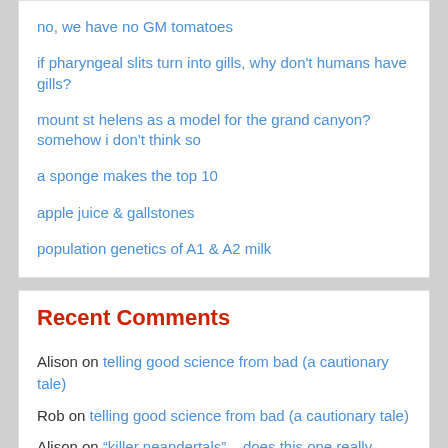no, we have no GM tomatoes
if pharyngeal slits turn into gills, why don't humans have gills?
mount st helens as a model for the grand canyon? somehow i don't think so
a sponge makes the top 10
apple juice & gallstones
population genetics of A1 & A2 milk
Recent Comments
Alison on telling good science from bad (a cautionary tale)
Rob on telling good science from bad (a cautionary tale)
Alison on "killer neandertals" – does this one really stack up?
Xcalibur on "killer neandertals" – does this one really stack up?